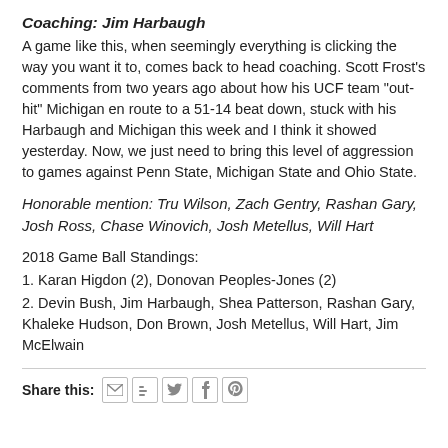Coaching: Jim Harbaugh
A game like this, when seemingly everything is clicking the way you want it to, comes back to head coaching. Scott Frost's comments from two years ago about how his UCF team "out-hit" Michigan en route to a 51-14 beat down, stuck with his Harbaugh and Michigan this week and I think it showed yesterday. Now, we just need to bring this level of aggression to games against Penn State, Michigan State and Ohio State.
Honorable mention: Tru Wilson, Zach Gentry, Rashan Gary, Josh Ross, Chase Winovich, Josh Metellus, Will Hart
2018 Game Ball Standings:
1. Karan Higdon (2), Donovan Peoples-Jones (2)
2. Devin Bush, Jim Harbaugh, Shea Patterson, Rashan Gary, Khaleke Hudson, Don Brown, Josh Metellus, Will Hart, Jim McElwain
Share this: